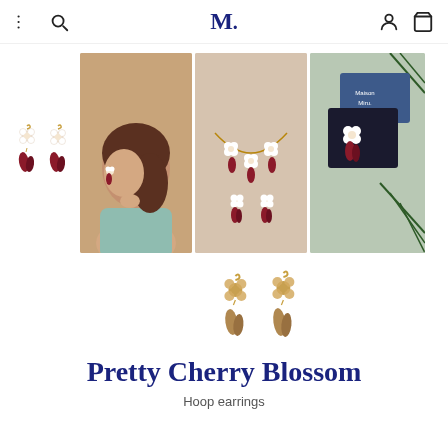M. (Maison Miru logo) — navigation bar with menu, search, account, and cart icons
[Figure (photo): Two small cherry blossom drop earrings (red and white flower with red leaf drop) shown as front and side view thumbnails on white background]
[Figure (photo): Woman with brown hair in side profile wearing cherry blossom earrings, light blue top, beige/warm background]
[Figure (photo): Cherry blossom necklace and earring set laid flat on peach/beige background]
[Figure (photo): Cherry blossom earrings displayed on dark velvet box with Maison Miru branded blue box lid, pine branch in background]
[Figure (photo): Two golden/taupe tone small flower drop earrings on white background, slightly different angles]
Pretty Cherry Blossom
Hoop earrings